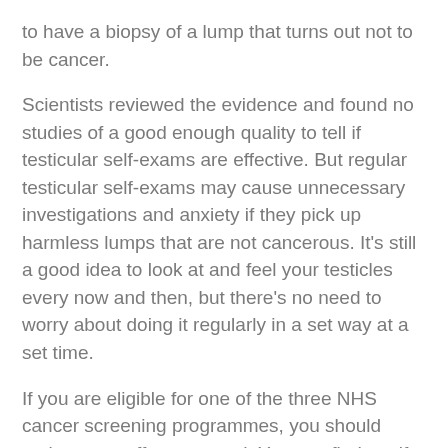to have a biopsy of a lump that turns out not to be cancer.
Scientists reviewed the evidence and found no studies of a good enough quality to tell if testicular self-exams are effective. But regular testicular self-exams may cause unnecessary investigations and anxiety if they pick up harmless lumps that are not cancerous. It’s still a good idea to look at and feel your testicles every now and then, but there’s no need to worry about doing it regularly in a set way at a set time.
If you are eligible for one of the three NHS cancer screening programmes, you should make every effort to attend. You can find out if you are eligible HERE.
To find out more about signs and symptoms of the most common cancers, the following link will take you yo more